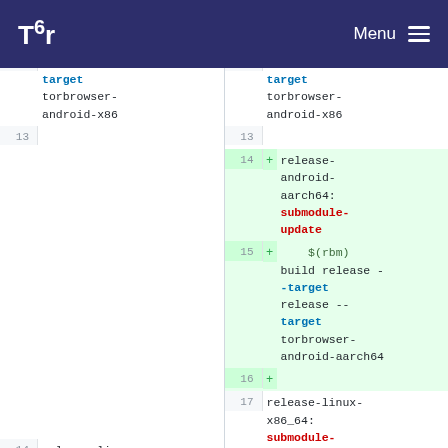Tor — Menu
Left pane line 13: (blank)
Left pane lines show: target torbrowser-android-x86 (line 12 area)
Right pane line 13: (blank)
Right pane line 14 (added): release-android-aarch64: submodule-update
Right pane line 15 (added): $(rbm) build release --target release --target torbrowser-android-aarch64
Right pane line 16 (added): (blank)
Right pane line 17: release-linux-x86_64: submodule-
Left pane line 14: release-linux-x86_64: submodule-